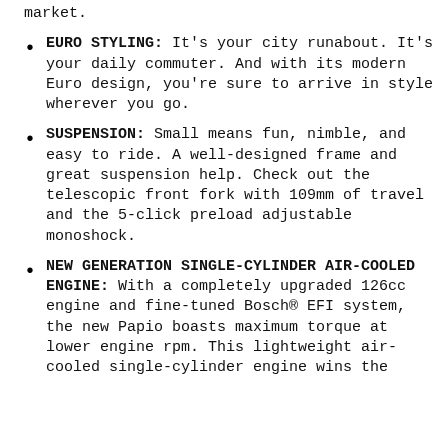market.
EURO STYLING: It's your city runabout. It's your daily commuter. And with its modern Euro design, you're sure to arrive in style wherever you go.
SUSPENSION: Small means fun, nimble, and easy to ride. A well-designed frame and great suspension help. Check out the telescopic front fork with 109mm of travel and the 5-click preload adjustable monoshock.
NEW GENERATION SINGLE-CYLINDER AIR-COOLED ENGINE: With a completely upgraded 126cc engine and fine-tuned Bosch® EFI system, the new Papio boasts maximum torque at lower engine rpm. This lightweight air-cooled single-cylinder engine wins the